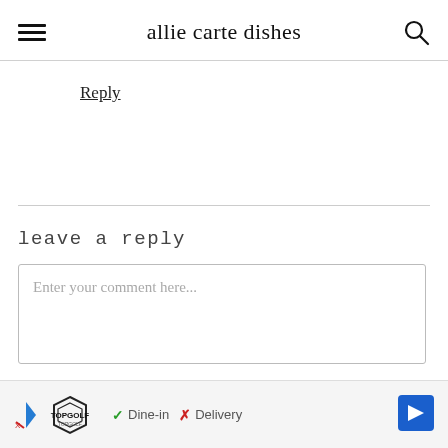allie carte dishes
Reply
leave a reply
Enter your comment here...
[Figure (other): Advertisement banner for Topgolf showing Dine-in and Delivery options with navigation arrow]
Dine-in  Delivery